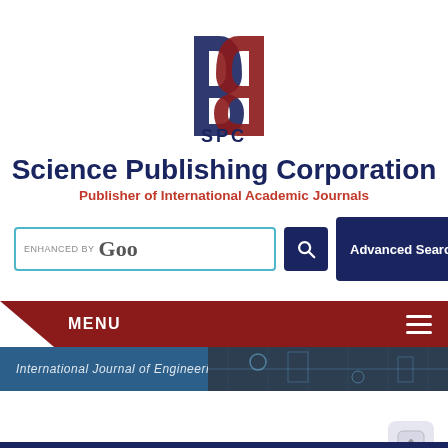[Figure (logo): SPC Science Publishing Corporation logo — two interlocked B-shaped symbols in dark navy and dark red, with 'SPC' text below]
Science Publishing Corporation
Publisher of International Academic Journals
[Figure (screenshot): Search bar with 'ENHANCED BY Goo' label, a search button (magnifying glass icon), and an 'Advanced Search' button]
[Figure (screenshot): Dark red navigation menu bar with 'MENU' label on the left and a hamburger menu icon on the right, with a banner image below showing 'International Journal of Engineering & Technology']